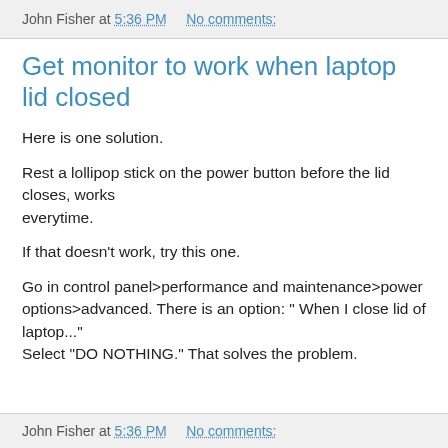John Fisher at 5:36 PM    No comments:
Get monitor to work when laptop lid closed
Here is one solution.
Rest a lollipop stick on the power button before the lid closes, works everytime.
If that doesn't work, try this one.
Go in control panel>performance and maintenance>power options>advanced. There is an option: " When I close lid of laptop..." Select "DO NOTHING." That solves the problem.
John Fisher at 5:36 PM    No comments: